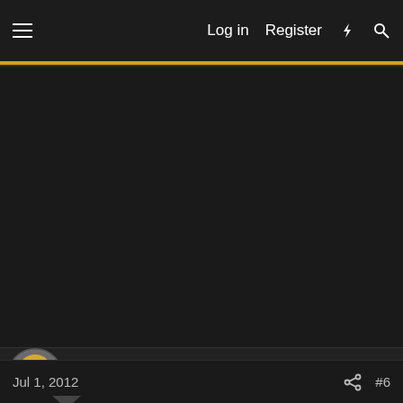Log in  Register
[Figure (screenshot): Dark forum page screenshot — large dark content area with no visible text content]
SJM
Epi Elitist Freak  V.I.P. Member
Jul 1, 2012  #6